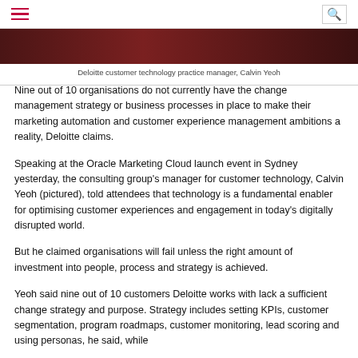≡  🔍
[Figure (photo): Partial photo strip of Deloitte customer technology practice manager Calvin Yeoh]
Deloitte customer technology practice manager, Calvin Yeoh
Nine out of 10 organisations do not currently have the change management strategy or business processes in place to make their marketing automation and customer experience management ambitions a reality, Deloitte claims.
Speaking at the Oracle Marketing Cloud launch event in Sydney yesterday, the consulting group's manager for customer technology, Calvin Yeoh (pictured), told attendees that technology is a fundamental enabler for optimising customer experiences and engagement in today's digitally disrupted world.
But he claimed organisations will fail unless the right amount of investment into people, process and strategy is achieved.
Yeoh said nine out of 10 customers Deloitte works with lack a sufficient change strategy and purpose. Strategy includes setting KPIs, customer segmentation, program roadmaps, customer monitoring, lead scoring and using personas, he said, while